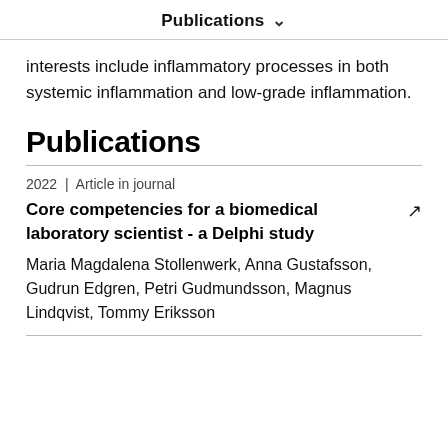Publications
interests include inflammatory processes in both systemic inflammation and low-grade inflammation.
Publications
2022 | Article in journal
Core competencies for a biomedical laboratory scientist - a Delphi study
Maria Magdalena Stollenwerk, Anna Gustafsson, Gudrun Edgren, Petri Gudmundsson, Magnus Lindqvist, Tommy Eriksson